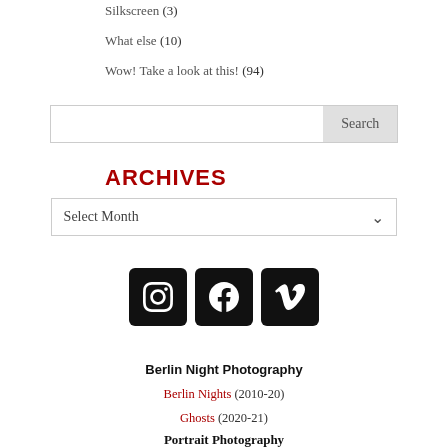Silkscreen (3)
What else (10)
Wow! Take a look at this! (94)
Search
ARCHIVES
Select Month
[Figure (infographic): Three social media icon buttons in black rounded squares: Instagram, Facebook, Vimeo]
Berlin Night Photography
Berlin Nights (2010-20)
Ghosts (2020-21)
Portrait Photography